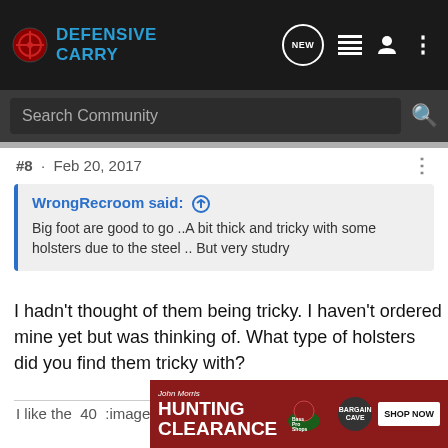[Figure (screenshot): Defensive Carry forum header with logo, NEW chat button, list icon, user icon, and three-dot menu]
[Figure (screenshot): Search Community search bar with magnifying glass icon]
#8 · Feb 20, 2017
WrongRecroom said: ↑
Big foot are good to go ..A bit thick and tricky with some holsters due to the steel .. But very studry
I hadn't thought of them being tricky. I haven't ordered mine yet but was thinking of. What type of holsters did you find them tricky with?
I like the 40 :image035:
[Figure (screenshot): Bass Pro Shops Bargain Cave Hunting Clearance ad banner with Shop Now button]